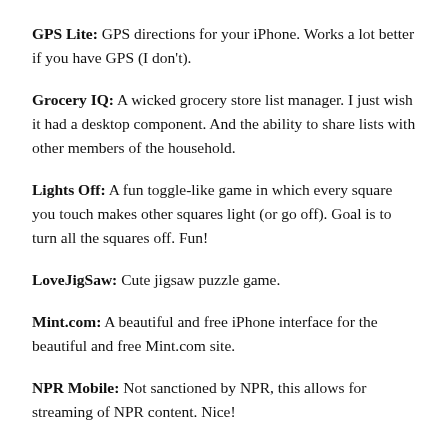GPS Lite: GPS directions for your iPhone. Works a lot better if you have GPS (I don't).
Grocery IQ: A wicked grocery store list manager. I just wish it had a desktop component. And the ability to share lists with other members of the household.
Lights Off: A fun toggle-like game in which every square you touch makes other squares light (or go off). Goal is to turn all the squares off. Fun!
LoveJigSaw: Cute jigsaw puzzle game.
Mint.com: A beautiful and free iPhone interface for the beautiful and free Mint.com site.
NPR Mobile: Not sanctioned by NPR, this allows for streaming of NPR content. Nice!